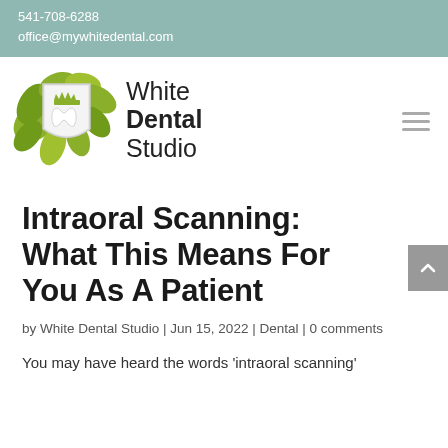541-708-6288
office@mywhitedental.com
[Figure (logo): White Dental Studio logo with shield and tooth emblem surrounded by green leaves, with text 'White Dental Studio']
Intraoral Scanning: What This Means For You As A Patient
by White Dental Studio | Jun 15, 2022 | Dental | 0 comments
You may have heard the words 'intraoral scanning'